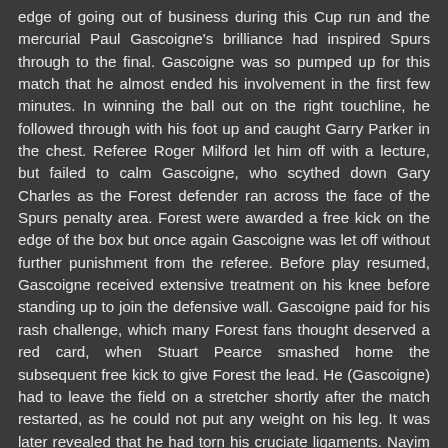edge of going out of business during this Cup run and the mercurial Paul Gascoigne's brilliance had inspired Spurs through to the final. Gascoigne was so pumped up for this match that he almost ended his involvement in the first few minutes. In winning the ball out on the right touchline, he followed through with his foot up and caught Garry Parker in the chest. Referee Roger Milford let him off with a lecture, but failed to calm Gascoigne, who scythed down Gary Charles as the Forest defender ran across the face of the Spurs penalty area. Forest were awarded a free kick on the edge of the box but once again Gascoigne was let off without further punishment from the referee. Before play resumed, Gascoigne received extensive treatment on his knee before standing up to join the defensive wall. Gascoigne paid for his rash challenge, which many Forest fans thought deserved a red card, when Stuart Pearce smashed home the subsequent free kick to give Forest the lead. He (Gascoigne) had to leave the field on a stretcher shortly after the match restarted, as he could not put any weight on his leg. It was later revealed that he had torn his cruciate ligaments. Nayim – later notable for his winning last-minute goal against rivals Arsenal in the 1995 UEFA Cup Winners' Cup Final – came on to replace him.